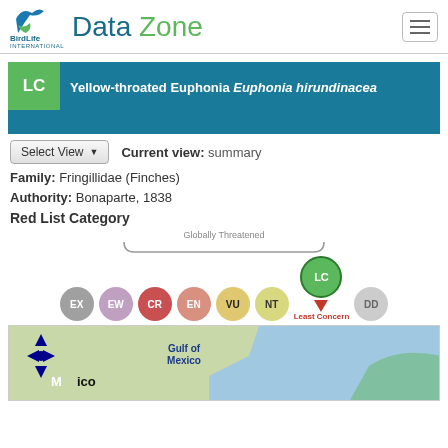BirdLife International — Data Zone
LC — Yellow-throated Euphonia Euphonia hirundinacea
Current view: summary
Family: Fringillidae (Finches)
Authority: Bonaparte, 1838
Red List Category
[Figure (infographic): IUCN Red List category scale showing circles: EX, EW, CR, EN, VU, NT, LC (active/selected with red pointer arrow and label 'Least Concern'), DD. A brace groups EX through VU as 'Globally Threatened'.]
[Figure (map): Map showing Gulf of Mexico region with navigation arrows and labels for Mexico and Gulf of Mexico.]